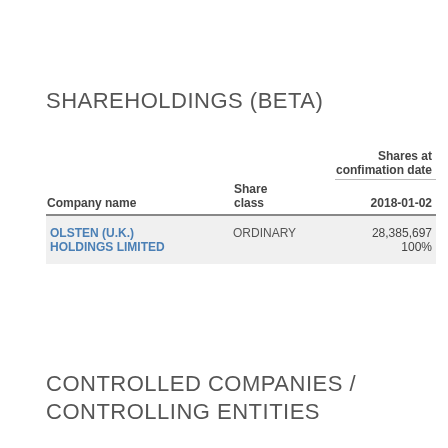SHAREHOLDINGS (BETA)
| Company name | Share class | Shares at confimation date 2018-01-02 |
| --- | --- | --- |
| OLSTEN (U.K.) HOLDINGS LIMITED | ORDINARY | 28,385,697
100% |
CONTROLLED COMPANIES / CONTROLLING ENTITIES